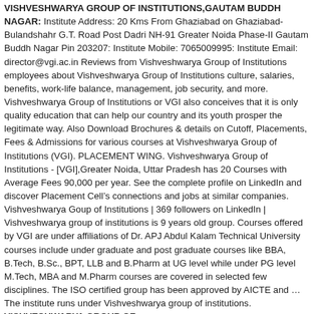VISHVESHWARYA GROUP OF INSTITUTIONS,GAUTAM BUDDH NAGAR: Institute Address: 20 Kms From Ghaziabad on Ghaziabad- Bulandshahr G.T. Road Post Dadri NH-91 Greater Noida Phase-II Gautam Buddh Nagar Pin 203207: Institute Mobile: 7065009995: Institute Email: director@vgi.ac.in Reviews from Vishveshwarya Group of Institutions employees about Vishveshwarya Group of Institutions culture, salaries, benefits, work-life balance, management, job security, and more. Vishveshwarya Group of Institutions or VGI also conceives that it is only quality education that can help our country and its youth prosper the legitimate way. Also Download Brochures & details on Cutoff, Placements, Fees & Admissions for various courses at Vishveshwarya Group of Institutions (VGI). PLACEMENT WING. Vishveshwarya Group of Institutions - [VGI],Greater Noida, Uttar Pradesh has 20 Courses with Average Fees 90,000 per year. See the complete profile on LinkedIn and discover Placement Cell’s connections and jobs at similar companies. Vishveshwarya Goup of Institutions | 369 followers on LinkedIn | Vishveshwarya group of institutions is 9 years old group. Courses offered by VGI are under affiliations of Dr. APJ Abdul Kalam Technical University courses include under graduate and post graduate courses like BBA, B.Tech, B.Sc., BPT, LLB and B.Pharm at UG level while under PG level M.Tech, MBA and M.Pharm courses are covered in selected few disciplines. The ISO certified group has been approved by AICTE and ... The institute runs under Vishveshwarya group of institutions. VISHVESHWARYA GROUP OF